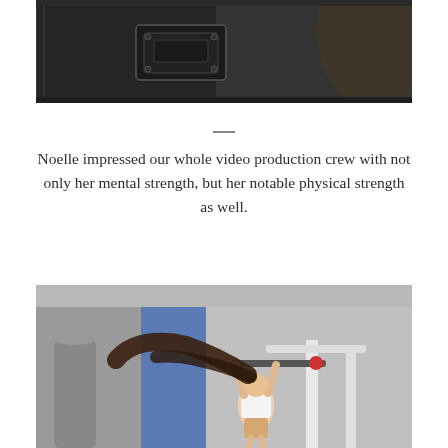[Figure (photo): Dark close-up photo of what appears to be road case or equipment case hardware/latches in a dark setting]
Noelle impressed our whole video production crew with not only her mental strength, but her notable physical strength as well.
[Figure (photo): Woman doing pull-ups on a pull-up bar/rack in a gym setting with blue and grey walls, her long dark hair visible]